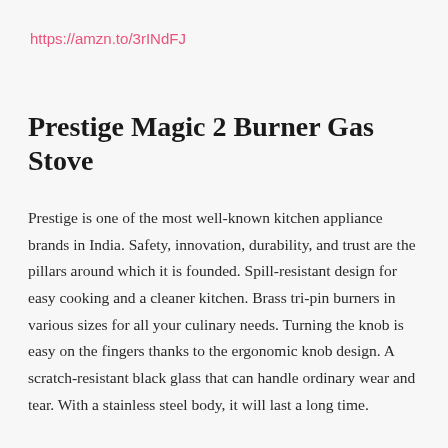https://amzn.to/3rINdFJ
Prestige Magic 2 Burner Gas Stove
Prestige is one of the most well-known kitchen appliance brands in India. Safety, innovation, durability, and trust are the pillars around which it is founded. Spill-resistant design for easy cooking and a cleaner kitchen. Brass tri-pin burners in various sizes for all your culinary needs. Turning the knob is easy on the fingers thanks to the ergonomic knob design. A scratch-resistant black glass that can handle ordinary wear and tear. With a stainless steel body, it will last a long time.